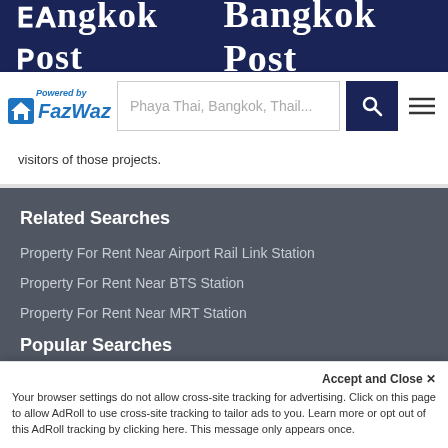Bangkok Post
[Figure (logo): FazWaz logo with 'Powered by' text and house icon, alongside a search bar with 'Phaya Thai, Bangkok, Thail...' placeholder, a dark blue search button with magnifying glass icon, and a menu hamburger icon]
visitors of those projects.
Related Searches
Property For Rent Near Airport Rail Link Station
Property For Rent Near BTS Station
Property For Rent Near MRT Station
Popular Searches
Bangkok Property For Rent
Accept and Close ✕
Your browser settings do not allow cross-site tracking for advertising. Click on this page to allow AdRoll to use cross-site tracking to tailor ads to you. Learn more or opt out of this AdRoll tracking by clicking here. This message only appears once.